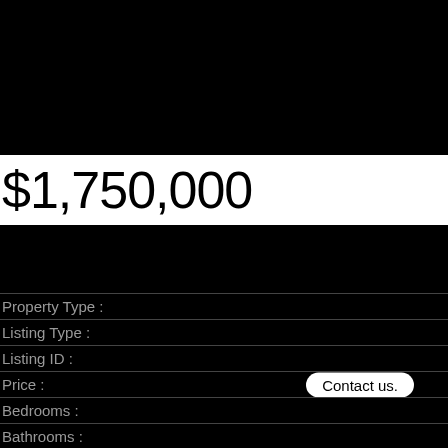$1,750,000
Property Type :
Listing Type :
Listing ID :
Price :
Bedrooms :
Bathrooms :
Square Footage :
Year Built :
Contact us.